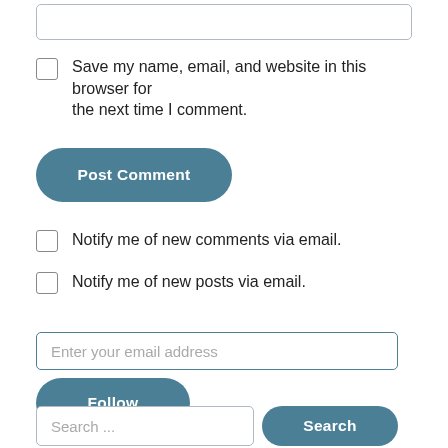Save my name, email, and website in this browser for the next time I comment.
Post Comment
Notify me of new comments via email.
Notify me of new posts via email.
Enter your email address
Follow
Search ...
Search